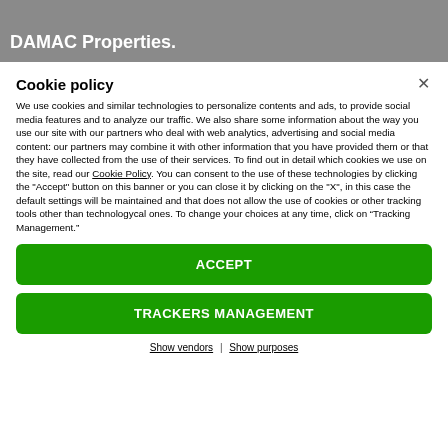Trump Organization and Dubai-based developer DAMAC Properties.
Cookie policy
We use cookies and similar technologies to personalize contents and ads, to provide social media features and to analyze our traffic. We also share some information about the way you use our site with our partners who deal with web analytics, advertising and social media content: our partners may combine it with other information that you have provided them or that they have collected from the use of their services. To find out in detail which cookies we use on the site, read our Cookie Policy. You can consent to the use of these technologies by clicking the "Accept" button on this banner or you can close it by clicking on the "X", in this case the default settings will be maintained and that does not allow the use of cookies or other tracking tools other than technologycal ones. To change your choices at any time, click on “Tracking Management.”
ACCEPT
TRACKERS MANAGEMENT
Show vendors | Show purposes